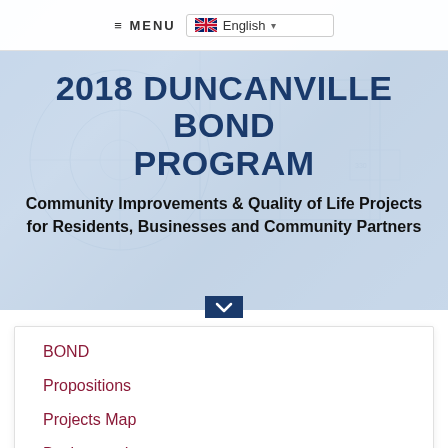≡ MENU  🇬🇧 English ▾
2018 DUNCANVILLE BOND PROGRAM
Community Improvements & Quality of Life Projects for Residents, Businesses and Community Partners
BOND
Propositions
Projects Map
Background